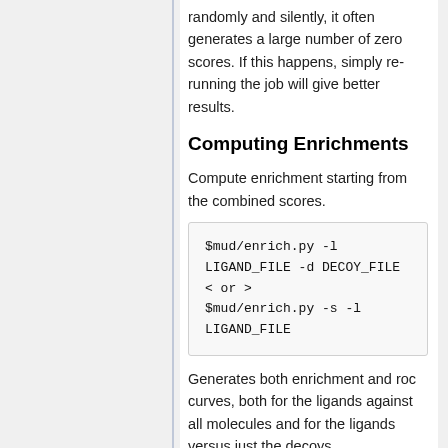randomly and silently, it often generates a large number of zero scores. If this happens, simply re-running the job will give better results.
Computing Enrichments
Compute enrichment starting from the combined scores.
$mud/enrich.py -l LIGAND_FILE -d DECOY_FILE < or >
$mud/enrich.py -s -l LIGAND_FILE
Generates both enrichment and roc curves, both for the ligands against all molecules and for the ligands versus just the decoys.
Creates: